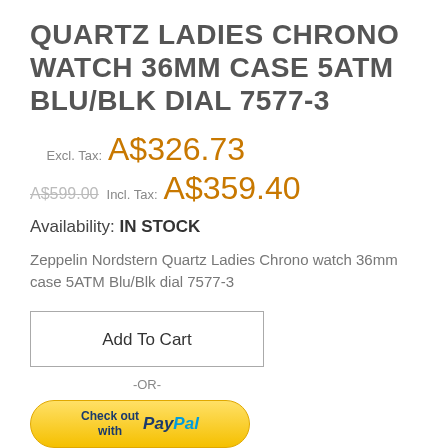QUARTZ LADIES CHRONO WATCH 36MM CASE 5ATM BLU/BLK DIAL 7577-3
Excl. Tax: A$326.73
A$599.00 Incl. Tax: A$359.40
Availability: IN STOCK
Zeppelin Nordstern Quartz Ladies Chrono watch 36mm case 5ATM Blu/Blk dial 7577-3
Add To Cart
-OR-
[Figure (other): PayPal checkout button with text 'Check out with PayPal' and tagline 'The safer, easier way to pay']